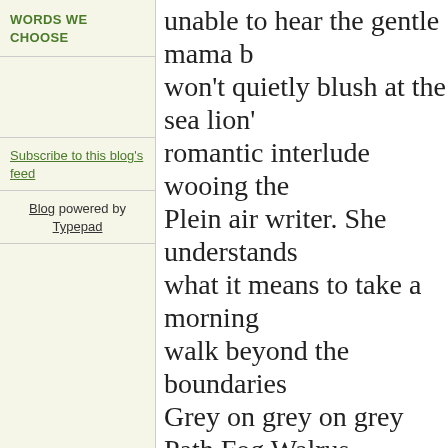WORDS WE CHOOSE
Subscribe to this blog's feed
Blog powered by Typepad
unable to hear the gentle mama b won't quietly blush at the sea lion' romantic interlude wooing the Plein air writer. She understands what it means to take a morning walk beyond the boundaries Grey on grey on grey Path Fog Walrus
There is still time to participate in OctPoW twitter and facebook. Stretch, grow and er
[Figure (photo): Street scene photo showing a woman with red hair and glasses wearing a blue shirt standing in an urban area with buildings, storefronts, and other people visible in the background]